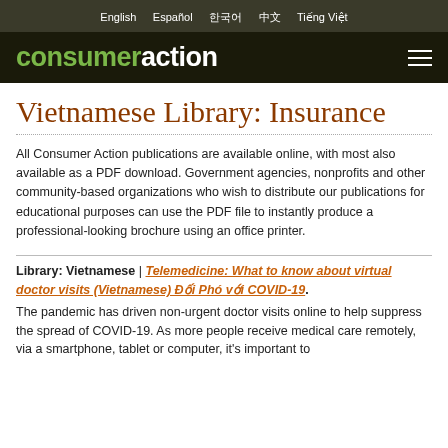English  Español  한국어  中文  Tiếng Việt
consumeraction
Vietnamese Library: Insurance
All Consumer Action publications are available online, with most also available as a PDF download. Government agencies, nonprofits and other community-based organizations who wish to distribute our publications for educational purposes can use the PDF file to instantly produce a professional-looking brochure using an office printer.
Library: Vietnamese | Telemedicine: What to know about virtual doctor visits (Vietnamese) Đối Phó với COVID-19. The pandemic has driven non-urgent doctor visits online to help suppress the spread of COVID-19. As more people receive medical care remotely, via a smartphone, tablet or computer, it's important to